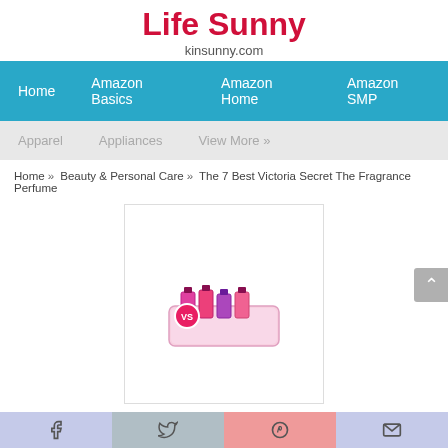Life Sunny
kinsunny.com
Home | Amazon Basics | Amazon Home | Amazon SMP
Apparel | Appliances | View More »
Home » Beauty & Personal Care » The 7 Best Victoria Secret The Fragrance Perfume
[Figure (photo): Product image of Victoria Secret The Fragrance Perfume set — colorful pink perfume bottles in a cosmetic bag with a circular logo badge]
The 7 Best Victoria Secret The